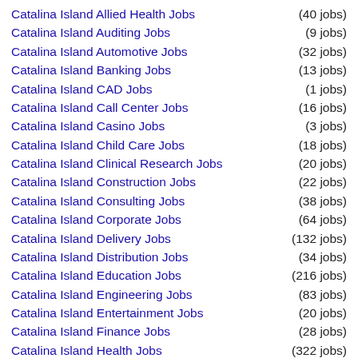Catalina Island Allied Health Jobs (40 jobs)
Catalina Island Auditing Jobs (9 jobs)
Catalina Island Automotive Jobs (32 jobs)
Catalina Island Banking Jobs (13 jobs)
Catalina Island CAD Jobs (1 jobs)
Catalina Island Call Center Jobs (16 jobs)
Catalina Island Casino Jobs (3 jobs)
Catalina Island Child Care Jobs (18 jobs)
Catalina Island Clinical Research Jobs (20 jobs)
Catalina Island Construction Jobs (22 jobs)
Catalina Island Consulting Jobs (38 jobs)
Catalina Island Corporate Jobs (64 jobs)
Catalina Island Delivery Jobs (132 jobs)
Catalina Island Distribution Jobs (34 jobs)
Catalina Island Education Jobs (216 jobs)
Catalina Island Engineering Jobs (83 jobs)
Catalina Island Entertainment Jobs (20 jobs)
Catalina Island Finance Jobs (28 jobs)
Catalina Island Health Jobs (322 jobs)
Catalina Island Healthcare Jobs (345 jobs)